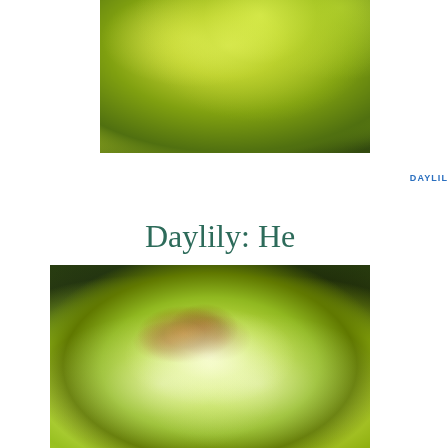[Figure (photo): Close-up photograph of a yellow-green daylily flower with curling petals against a green foliage background]
DAYLIL
Daylily: He
[Figure (photo): Close-up photograph of an open yellow-green and white daylily flower with visible stamens against dark green foliage]